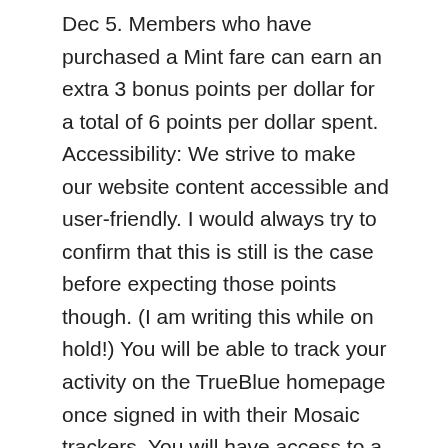Dec 5. Members who have purchased a Mint fare can earn an extra 3 bonus points per dollar for a total of 6 points per dollar spent. Accessibility: We strive to make our website content accessible and user-friendly. I would always try to confirm that this is still is the case before expecting those points though. (I am writing this while on hold!) You will be able to track your activity on the TrueBlue homepage once signed in with their Mosaic trackers. You will have access to a dedicated customer service line. Since 2014, his content has been featured in major publications such as National Geographic, Smithsonian Magazine, Forbes, CNBC, US News, and Business Insider. Required fields are marked *. This phone number is JetBlue TrueBlue's Best Phone Number because